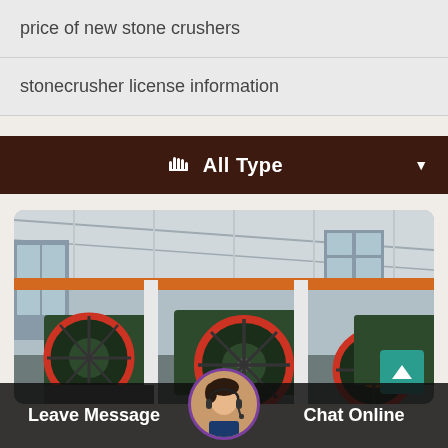price of new stone crushers
stonecrusher license information
All Type
[Figure (photo): Industrial factory floor showing large stone crusher machinery with green and red flywheel components, orange overhead crane beam, steel framework ceiling, and concrete block walls with windows.]
Leave Message
Chat Online